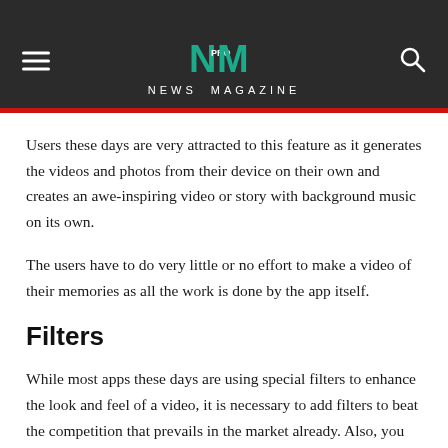NM PRO NEWS MAGAZINE
Users these days are very attracted to this feature as it generates the videos and photos from their device on their own and creates an awe-inspiring video or story with background music on its own.
The users have to do very little or no effort to make a video of their memories as all the work is done by the app itself.
Filters
While most apps these days are using special filters to enhance the look and feel of a video, it is necessary to add filters to beat the competition that prevails in the market already. Also, you can consider adding stickers as a feature to your app as it makes the videos quirky and attractive.